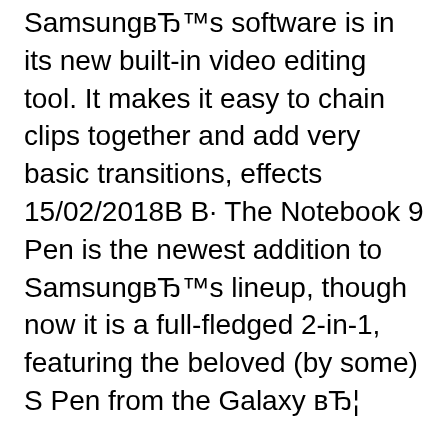SamsungвЂ™s software is in its new built-in video editing tool. It makes it easy to chain clips together and add very basic transitions, effects 15/02/2018В В· The Notebook 9 Pen is the newest addition to SamsungвЂ™s lineup, though now it is a full-fledged 2-in-1, featuring the beloved (by some) S Pen from the Galaxy вЂ¦
S-Pen. The Samsung Galaxy Note8 runs on Android 7.1.1 Nougat - that's 0.1.1 more than your regular S8s and S8 Pluses. The version of the Samsung User Experience UI, which is running on top of S-Pen. The Samsung Galaxy Note8 runs on Android 7.1.1 Nougat - that's 0.1.1 more than your regular S8s